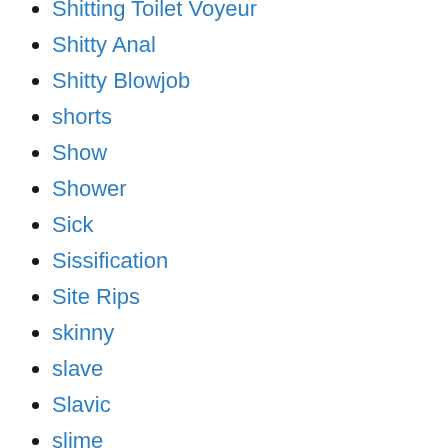Shitting Toilet Voyeur
Shitty Anal
Shitty Blowjob
shorts
Show
Shower
Sick
Sissification
Site Rips
skinny
slave
Slavic
slime
Sloppy Blowjob
Slow
Slurry
Slurry bath